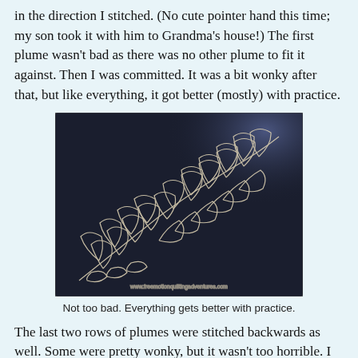in the direction I stitched. (No cute pointer hand this time; my son took it with him to Grandma's house!) The first plume wasn't bad as there was no other plume to fit it against. Then I was committed. It was a bit wonky after that, but like everything, it got better (mostly) with practice.
[Figure (photo): A dark navy/black quilted fabric showing white thread stitching in a plume or feather pattern, with multiple overlapping feather-like loops arranged diagonally across the fabric. A watermark reads www.freemotionquiltingadventures.com.]
Not too bad. Everything gets better with practice.
The last two rows of plumes were stitched backwards as well. Some were pretty wonky, but it wasn't too horrible. I tried to picture in my mind what the whole plume looked like as I stitched. It was hard to keep from over-doing the lower curve of each plume